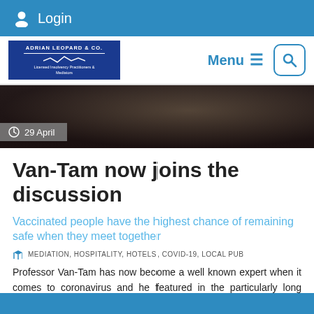Login
[Figure (screenshot): Navigation bar with Adrian Leopard & Co. logo, Menu button, and Search button]
[Figure (photo): Dark hero image with date badge showing 29 April]
Van-Tam now joins the discussion
Vaccinated people have the highest chance of remaining safe when they meet together
MEDIATION, HOSPITALITY, HOTELS, COVID-19, LOCAL PUB
Professor Van-Tam has now become a well known expert when it comes to coronavirus and he featured in the particularly long Downing Street briefing yesterday.